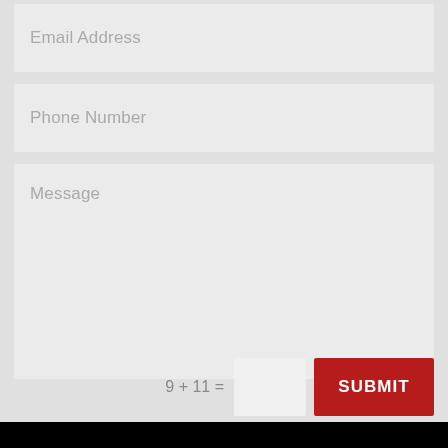[Figure (screenshot): A web contact form UI showing three input fields (Email Address, Phone Number, Message) with a CAPTCHA math equation '9 + 11 =' and a red SUBMIT button on a light gray background.]
Email Address
Phone Number
Message
9 + 11 =
SUBMIT